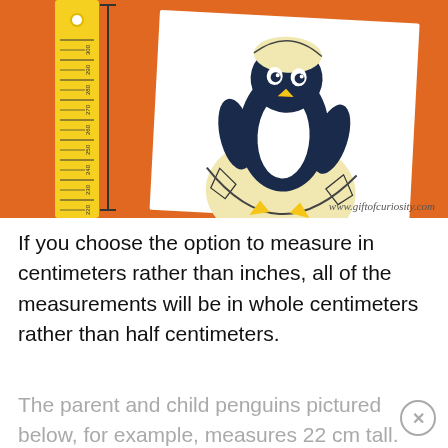[Figure (photo): Photo of a yellow ruler next to a white card showing a cartoon penguin hatching from an egg, placed on an orange background. Watermark reads www.giftofcuriosity.com]
If you choose the option to measure in centimeters rather than inches, all of the measurements will be in whole centimeters rather than half centimeters.
The parent and child penguins pictured below, for example, measures 22 cm tall.